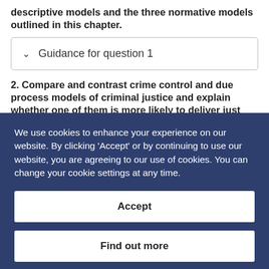descriptive models and the three normative models outlined in this chapter.
Guidance for question 1
2. Compare and contrast crime control and due process models of criminal justice and explain whether one of them is more likely to deliver just
We use cookies to enhance your experience on our website. By clicking 'Accept' or by continuing to use our website, you are agreeing to our use of cookies. You can change your cookie settings at any time.
Accept
Find out more